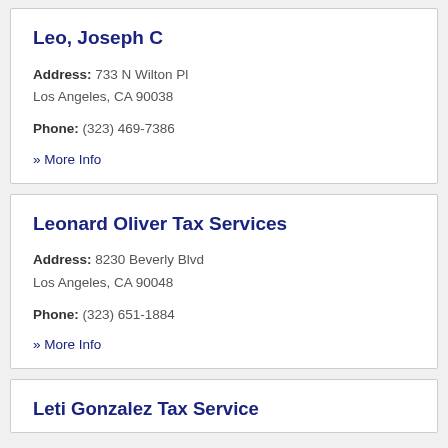Leo, Joseph C
Address: 733 N Wilton Pl
Los Angeles, CA 90038
Phone: (323) 469-7386
» More Info
Leonard Oliver Tax Services
Address: 8230 Beverly Blvd
Los Angeles, CA 90048
Phone: (323) 651-1884
» More Info
Leti Gonzalez Tax Service